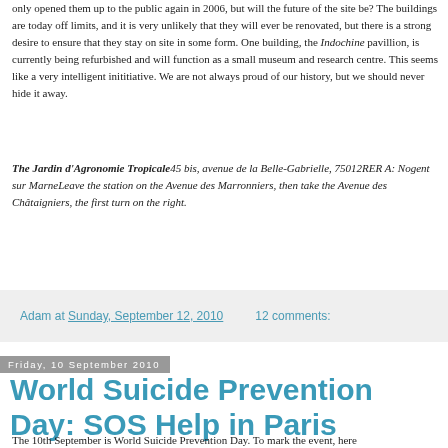only opened them up to the public again in 2006, but will the future of the site be? The buildings are today off limits, and it is very unlikely that they will ever be renovated, but there is a strong desire to ensure that they stay on site in some form. One building, the Indochine pavillion, is currently being refurbished and will function as a small museum and research centre. This seems like a very intelligent inititiative. We are not always proud of our history, but we should never hide it away.
The Jardin d'Agronomie Tropicale 45 bis, avenue de la Belle-Gabrielle, 75012 RER A: Nogent sur Marne Leave the station on the Avenue des Marronniers, then take the Avenue des Châtaigniers, the first turn on the right.
Adam at Sunday, September 12, 2010    12 comments:
Friday, 10 September 2010
World Suicide Prevention Day: SOS Help in Paris
The 10th September is World Suicide Prevention Day. To mark the event, here